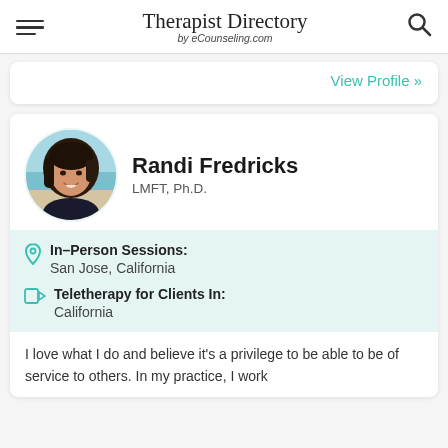Therapist Directory by eCounseling.com
View Profile »
Randi Fredricks
LMFT, Ph.D.
[Figure (photo): Circular profile photo of Randi Fredricks, a woman with dark hair, smiling, in front of a beach background]
In-Person Sessions: San Jose, California
Teletherapy for Clients In: California
I love what I do and believe it's a privilege to be able to be of service to others. In my practice, I work